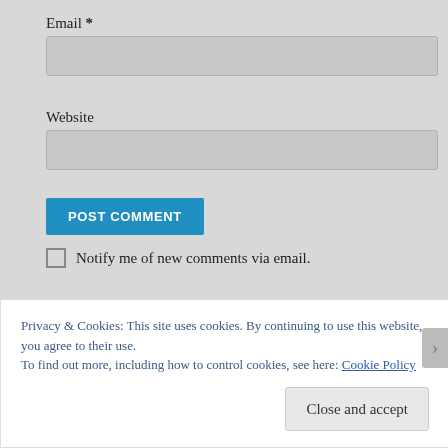Email *
[Figure (screenshot): Email input text field (empty, grey background)]
Website
[Figure (screenshot): Website input text field (empty, grey background)]
POST COMMENT
Notify me of new comments via email.
Notify me of new posts via email.
Privacy & Cookies: This site uses cookies. By continuing to use this website, you agree to their use.
To find out more, including how to control cookies, see here: Cookie Policy
Close and accept